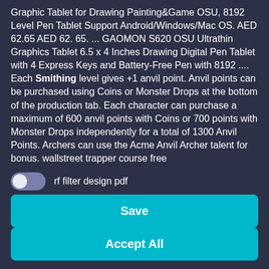Graphic Tablet for Drawing Painting&Game OSU, 8192 Level Pen Tablet Support Android/Windows/Mac OS. AED 62.65 AED 62. 65. ... GAOMON S620 OSU Ultrathin Graphics Tablet 6.5 x 4 Inches Drawing Digital Pen Tablet with 4 Express Keys and Battery-Free Pen with 8192 .... Each Smithing level gives +1 anvil point. Anvil points can be purchased using Coins or Monster Drops at the bottom of the production tab. Each character can purchase a maximum of 600 anvil points with Coins or 700 points with Monster Drops independently for a total of 1300 Anvil Points. Archers can use the Acme Anvil Archer talent for bonus. wallstreet trapper course free
rf filter design pdf
is lane scott still alive
hf digital signals
Save
Accept All